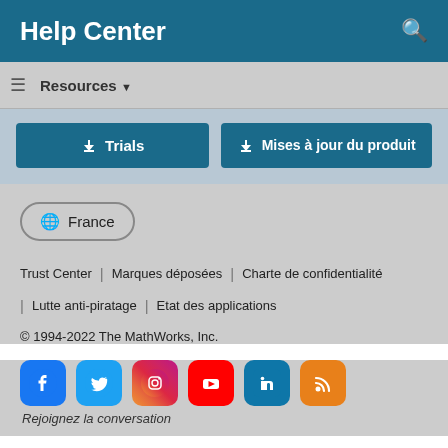Help Center
Resources ▼
[Figure (screenshot): Two teal download buttons: 'Trials' and 'Mises à jour du produit']
[Figure (other): Globe icon with France country selector button]
Trust Center | Marques déposées | Charte de confidentialité | Lutte anti-piratage | Etat des applications
© 1994-2022 The MathWorks, Inc.
[Figure (other): Social media icons: Facebook, Twitter, Instagram, YouTube, LinkedIn, RSS]
Rejoignez la conversation